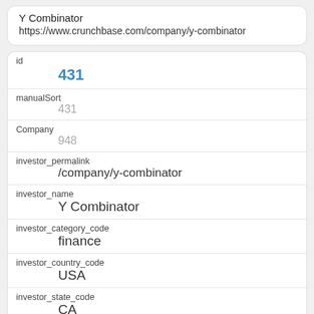Y Combinator
https://www.crunchbase.com/company/y-combinator
| Field | Value |
| --- | --- |
| id | 431 |
| manualSort | 431 |
| Company | 948 |
| investor_permalink | /company/y-combinator |
| investor_name | Y Combinator |
| investor_category_code | finance |
| investor_country_code | USA |
| investor_state_code | CA |